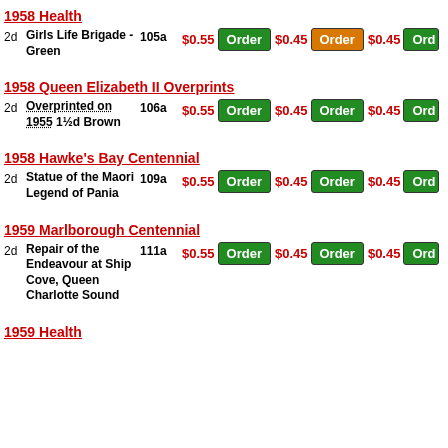1958 Health
2d Girls Life Brigade - Green 105a $0.55 Order $0.45 Order $0.45 Ord
1958 Queen Elizabeth II Overprints
2d Overprinted on 1955 1½d Brown 106a $0.55 Order $0.45 Order $0.45 Ord
1958 Hawke's Bay Centennial
2d Statue of the Maori Legend of Pania 109a $0.55 Order $0.45 Order $0.45 Ord
1959 Marlborough Centennial
2d Repair of the Endeavour at Ship Cove, Queen Charlotte Sound 111a $0.55 Order $0.45 Order $0.45 Ord
1959 Health